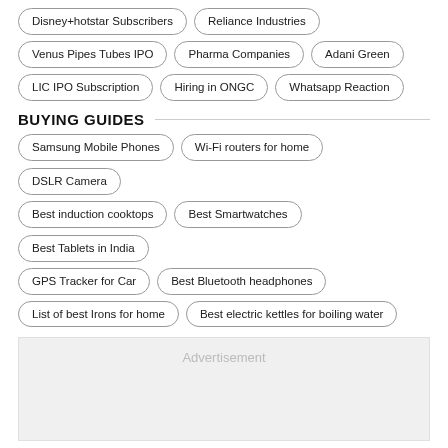Disney+hotstar Subscribers
Reliance Industries
Venus Pipes Tubes IPO
Pharma Companies
Adani Green
LIC IPO Subscription
Hiring in ONGC
Whatsapp Reaction
BUYING GUIDES
Samsung Mobile Phones
Wi-Fi routers for home
DSLR Camera
Best induction cooktops
Best Smartwatches
Best Tablets in India
GPS Tracker for Car
Best Bluetooth headphones
List of best Irons for home
Best electric kettles for boiling water
Advertisement